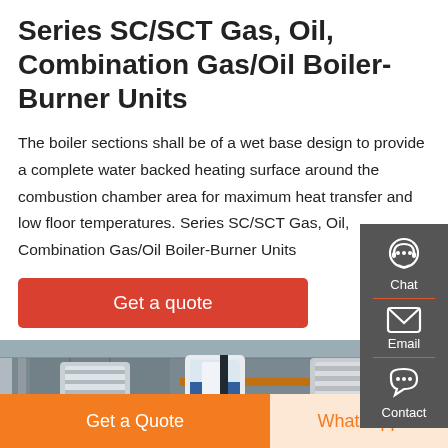Series SC/SCT Gas, Oil, Combination Gas/Oil Boiler-Burner Units
The boiler sections shall be of a wet base design to provide a complete water backed heating surface around the combustion chamber area for maximum heat transfer and low floor temperatures. Series SC/SCT Gas, Oil, Combination Gas/Oil Boiler-Burner Units
Get a quote
[Figure (photo): Industrial boiler units in a factory/warehouse setting, showing large cylindrical boiler-burner units with blue and white casing, surrounded by industrial shelving and equipment.]
Get a Quote
WhatsApp